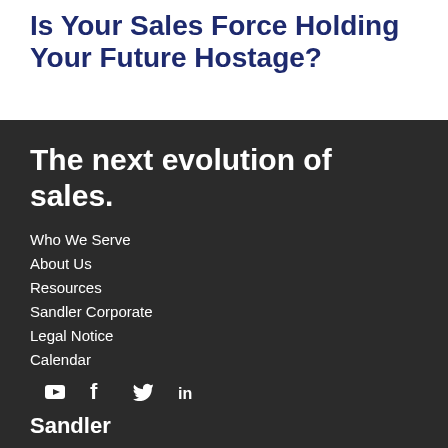Is Your Sales Force Holding Your Future Hostage?
The next evolution of sales.
Who We Serve
About Us
Resources
Sandler Corporate
Legal Notice
Calendar
[Figure (other): Social media icons row: YouTube, Facebook, Twitter, LinkedIn]
Sandler